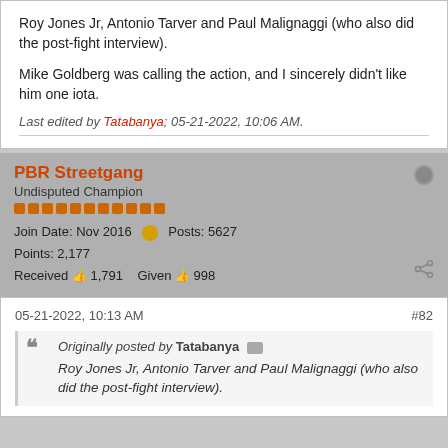Roy Jones Jr, Antonio Tarver and Paul Malignaggi (who also did the post-fight interview).
Mike Goldberg was calling the action, and I sincerely didn't like him one iota.
Last edited by Tatabanya; 05-21-2022, 10:06 AM.
PBR Streetgang
Undisputed Champion
Join Date: Nov 2016  Posts: 5627
Points: 2,177
Received 1,791  Given 998
05-21-2022, 10:13 AM  #82
Originally posted by Tatabanya
Roy Jones Jr, Antonio Tarver and Paul Malignaggi (who also did the post-fight interview).